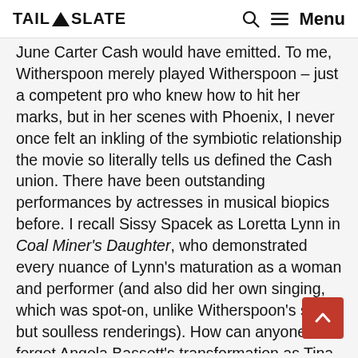TAIL SLATE — Menu
June Carter Cash would have emitted. To me, Witherspoon merely played Witherspoon – just a competent pro who knew how to hit her marks, but in her scenes with Phoenix, I never once felt an inkling of the symbiotic relationship the movie so literally tells us defined the Cash union. There have been outstanding performances by actresses in musical biopics before. I recall Sissy Spacek as Loretta Lynn in Coal Miner's Daughter, who demonstrated every nuance of Lynn's maturation as a woman and performer (and also did her own singing, which was spot-on, unlike Witherspoon's sweet but soulless renderings). How can anyone forget Angela Bassett's transformation as Tina Turner, standing up against an abusive husband and prevailing with a solo career? And Judy Davis, channeling no less a muse than Judy Garland in Me and My Shadows?